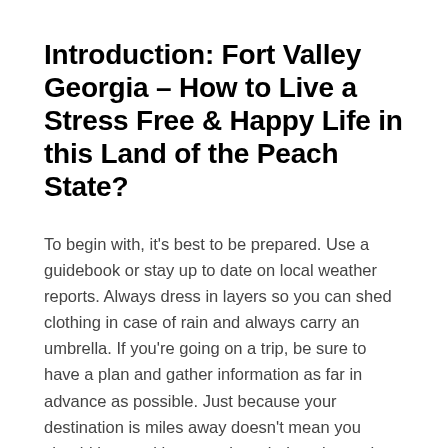Introduction: Fort Valley Georgia – How to Live a Stress Free & Happy Life in this Land of the Peach State?
To begin with, it's best to be prepared. Use a guidebook or stay up to date on local weather reports. Always dress in layers so you can shed clothing in case of rain and always carry an umbrella. If you're going on a trip, be sure to have a plan and gather information as far in advance as possible. Just because your destination is miles away doesn't mean you should leave without any knowledge about what